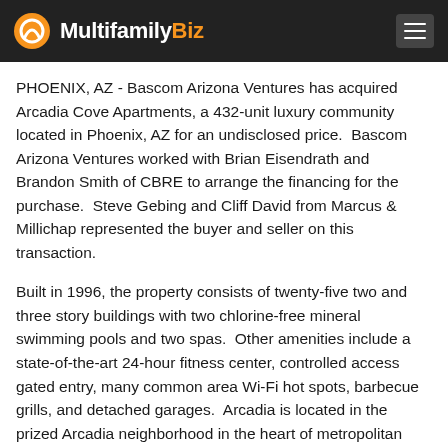MultifamilyBiz
PHOENIX, AZ - Bascom Arizona Ventures has acquired Arcadia Cove Apartments, a 432-unit luxury community located in Phoenix, AZ for an undisclosed price.  Bascom Arizona Ventures worked with Brian Eisendrath and Brandon Smith of CBRE to arrange the financing for the purchase.  Steve Gebing and Cliff David from Marcus & Millichap represented the buyer and seller on this transaction.
Built in 1996, the property consists of twenty-five two and three story buildings with two chlorine-free mineral swimming pools and two spas.  Other amenities include a state-of-the-art 24-hour fitness center, controlled access gated entry, many common area Wi-Fi hot spots, barbecue grills, and detached garages.  Arcadia is located in the prized Arcadia neighborhood in the heart of metropolitan Phoenix, at one of the busiest north/south thoroughfares.
Mark Brotherton, Portfolio Manager for Bascom Arizona, comments, 'Arcadia is a prime candidate for property wide upgrades to capitalize on the recovering Phoenix multifamily market.  We are excited about